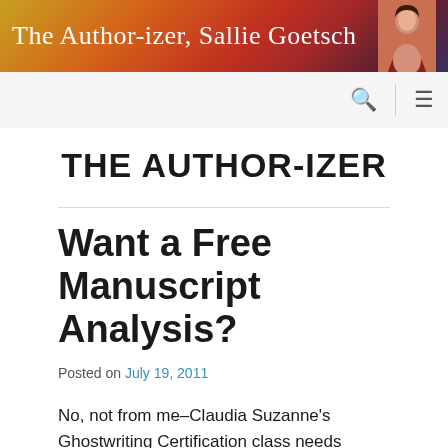The Author-izer, Sallie Goetsch
THE AUTHOR-IZER
Want a Free Manuscript Analysis?
Posted on July 19, 2011
No, not from me–Claudia Suzanne's Ghostwriting Certification class needs manuscripts to work on. If you have a never-published book manuscript that you'd like